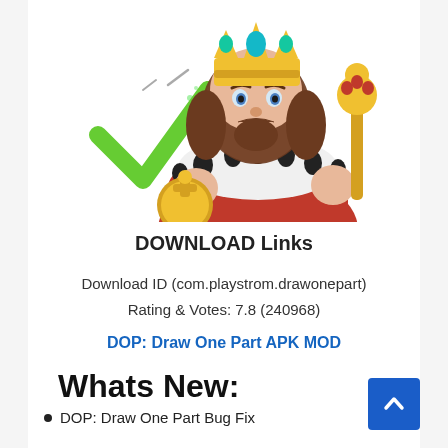[Figure (illustration): Cartoon king character wearing a gold crown with blue and green gems, red royal robe with white fur trim and black spots, holding a gold orb in one hand and a golden scepter in the other. A large green checkmark is visible to the left of the king. The image is partially cropped at the top.]
DOWNLOAD Links
Download ID (com.playstrom.drawonepart)
Rating & Votes: 7.8 (240968)
DOP: Draw One Part APK MOD
Whats New:
DOP: Draw One Part Bug Fix